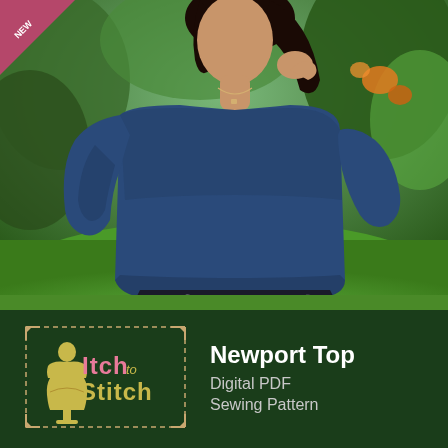[Figure (photo): Woman wearing a loose-fitting navy/dark blue long-sleeve boxy knit top with a wide boat neckline, paired with black and white floral print pants. She is standing outdoors on green grass with green foliage in the background. She has dark hair and is wearing a delicate necklace, touching her hair with one hand.]
[Figure (logo): Itch to Stitch logo: yellow/gold dress form mannequin icon inside a dashed rectangular border with arrows at corners, text 'Itch to Stitch' in pink and yellow on dark green background]
Newport Top
Digital PDF Sewing Pattern